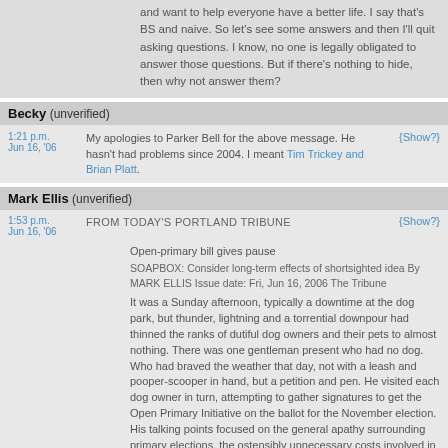and want to help everyone have a better life. I say that's BS and naive. So let's see some answers and then I'll quit asking questions. I know, no one is legally obligated to answer those questions. But if there's nothing to hide, then why not answer them?
Becky (unverified)
1:21 p.m. Jun 16, '06 — My apologies to Parker Bell for the above message. He hasn't had problems since 2004. I meant Tim Trickey and Brian Platt. (Show?)
Mark Ellis (unverified)
1:53 p.m. Jun 16, '06 — FROM TODAY'S PORTLAND TRIBUNE
Open-primary bill gives pause
SOAPBOX: Consider long-term effects of shortsighted idea By MARK ELLIS Issue date: Fri, Jun 16, 2006 The Tribune
It was a Sunday afternoon, typically a downtime at the dog park, but thunder, lightning and a torrential downpour had thinned the ranks of dutiful dog owners and their pets to almost nothing. There was one gentleman present who had no dog. Who had braved the weather that day, not with a leash and pooper-scooper in hand, but a petition and pen. He visited each dog owner in turn, attempting to gather signatures to get the Open Primary Initiative on the ballot for the November election. His talking points focused on the general apathy surrounding primary elections, the ostensibly unnecessary costs involved in holding a primary in which voters can only cast votes for those in their own parties and the stranglehold that closed primaries put on moderate candidates who don't appeal to the polarized interests of the major parties. Wouldn't it be better, he posited, to (Show?)